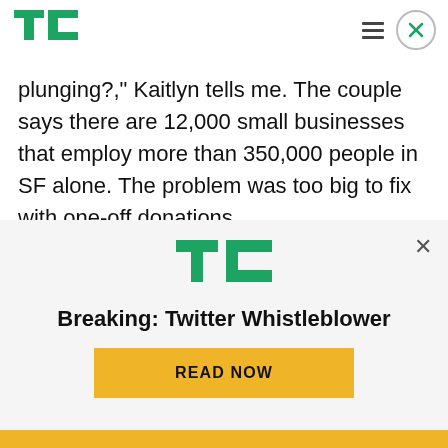TechCrunch logo, hamburger menu, close button
plunging?," Kaitlyn tells me. The couple says there are 12,000 small businesses that employ more than 350,000 people in SF alone. The problem was too big to fix with one-off donations.
But then they saw an Instagram post about how NYC restaurant Atomix was asking their community to support them through gift cards, and set out to build SaveOurFaves with Kaitlyn doing design while
[Figure (logo): TechCrunch TC logo in green]
Breaking: Twitter Whistleblower
READ NOW